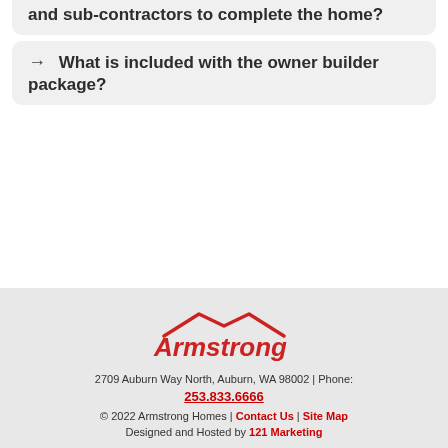and sub-contractors to complete the home?
→ What is included with the owner builder package?
[Figure (logo): Armstrong Homes logo — stylized roofline above the word 'Armstrong' in red]
2709 Auburn Way North, Auburn, WA 98002 | Phone: 253.833.6666
© 2022 Armstrong Homes | Contact Us | Site Map
Designed and Hosted by 121 Marketing